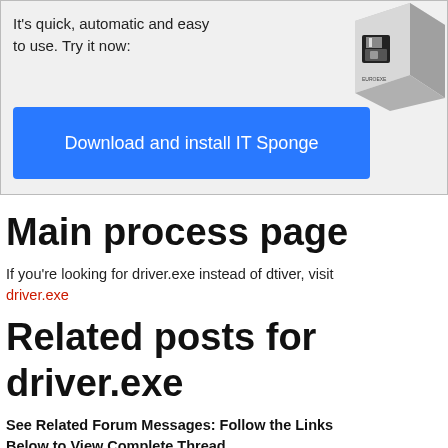It's quick, automatic and easy to use. Try it now:
[Figure (illustration): 3D box product illustration resembling software packaging with a floppy disk icon]
Download and install IT Sponge
Main process page
If you're looking for driver.exe instead of dtiver, visit
driver.exe
Related posts for driver.exe
See Related Forum Messages: Follow the Links Below to View Complete Thread